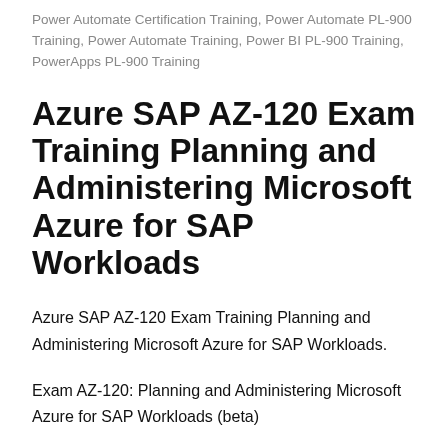Power Automate Certification Training, Power Automate PL-900 Training, Power Automate Training, Power BI PL-900 Training, PowerApps PL-900 Training
Azure SAP AZ-120 Exam Training Planning and Administering Microsoft Azure for SAP Workloads
Azure SAP AZ-120 Exam Training Planning and Administering Microsoft Azure for SAP Workloads.
Exam AZ-120: Planning and Administering Microsoft Azure for SAP Workloads (beta)